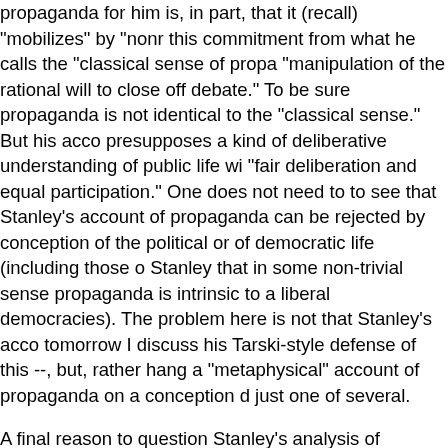propaganda for him is, in part, that it (recall) "mobilizes" by "nonr this commitment from what he calls the "classical sense of propa "manipulation of the rational will to close off debate." To be sure propaganda is not identical to the "classical sense." But his acco presupposes a kind of deliberative understanding of public life wi "fair deliberation and equal participation." One does not need to to see that Stanley's account of propaganda can be rejected by conception of the political or of democratic life (including those o Stanley that in some non-trivial sense propaganda is intrinsic to a liberal democracies). The problem here is not that Stanley's acco tomorrow I discuss his Tarski-style defense of this --, but, rather hang a "metaphysical" account of propaganda on a conception d just one of several.
A final reason to question Stanley's analysis of propaganda is tha detection of propaganda. For his emphasis on the ways in which (or promotes) ideals involves contested and contestable empiro discern the real life pattern of consequences from propagandist honest about this feature of his approach and acknowledges the usefulness of the characterization of propaganda" that he provid are under dispute, so too will be many claims about what follo